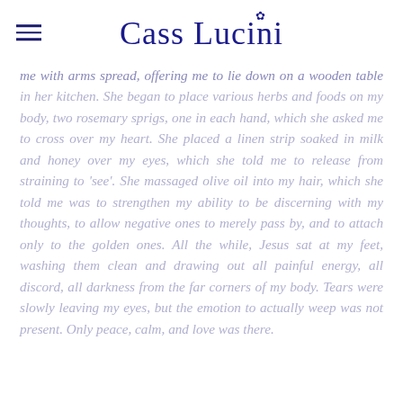Cass Lucini
me with arms spread, offering me to lie down on a wooden table in her kitchen. She began to place various herbs and foods on my body, two rosemary sprigs, one in each hand, which she asked me to cross over my heart. She placed a linen strip soaked in milk and honey over my eyes, which she told me to release from straining to 'see'. She massaged olive oil into my hair, which she told me was to strengthen my ability to be discerning with my thoughts, to allow negative ones to merely pass by, and to attach only to the golden ones. All the while, Jesus sat at my feet, washing them clean and drawing out all painful energy, all discord, all darkness from the far corners of my body. Tears were slowly leaving my eyes, but the emotion to actually weep was not present. Only peace, calm, and love was there.